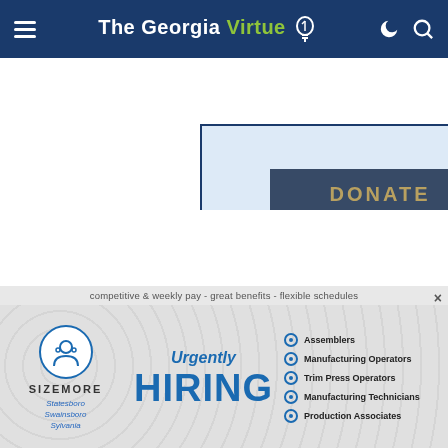The Georgia Virtue
[Figure (screenshot): Donate button in a blue-bordered light blue box]
[Figure (infographic): Sizemore Staffing ad: Urgently HIRING — Assemblers, Manufacturing Operators, Trim Press Operators, Manufacturing Technicians, Production Associates — competitive & weekly pay - great benefits - flexible schedules — Statesboro Swainsboro Sylvania]